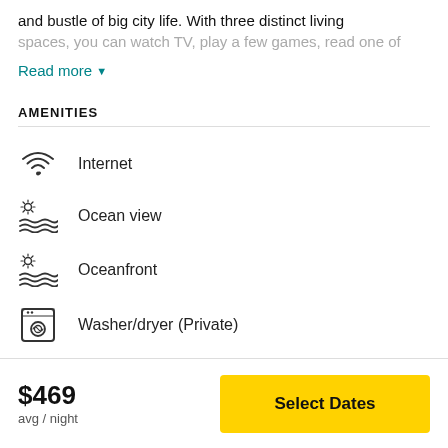and bustle of big city life. With three distinct living
spaces, you can watch TV, play a few games, read one of
Read more ▾
AMENITIES
Internet
Ocean view
Oceanfront
Washer/dryer (Private)
$469
avg / night
Select Dates